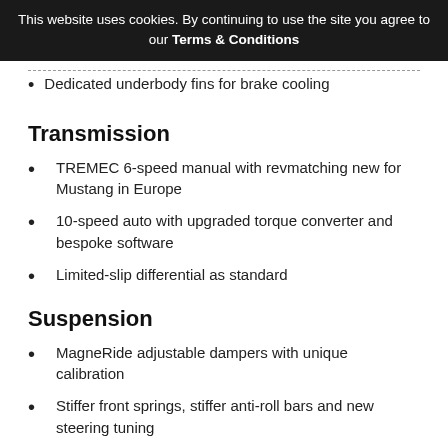This website uses cookies. By continuing to use the site you agree to our Terms & Conditions
Dedicated underbody fins for brake cooling
Transmission
TREMEC 6-speed manual with revmatching new for Mustang in Europe
10-speed auto with upgraded torque converter and bespoke software
Limited-slip differential as standard
Suspension
MagneRide adjustable dampers with unique calibration
Stiffer front springs, stiffer anti-roll bars and new steering tuning
New subframe and toe-link components for sharpened steering responses on road and track